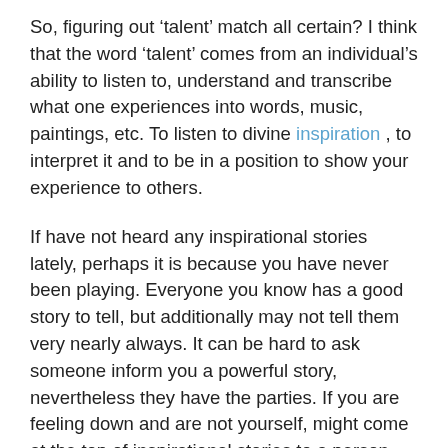So, figuring out ‘talent’ match all certain? I think that the word ‘talent’ comes from an individual’s ability to listen to, understand and transcribe what one experiences into words, music, paintings, etc. To listen to divine inspiration , to interpret it and to be in a position to show your experience to others.
If have not heard any inspirational stories lately, perhaps it is because you have never been playing. Everyone you know has a good story to tell, but additionally may not tell them very nearly always. It can be hard to ask someone inform you a powerful story, nevertheless they have the parties. If you are feeling down and are not yourself, might come at the top of inspirational stories to a person even when you’ve got do not ask all of them. Good friends sense if you end up down, like is how to chose to try to help you can.